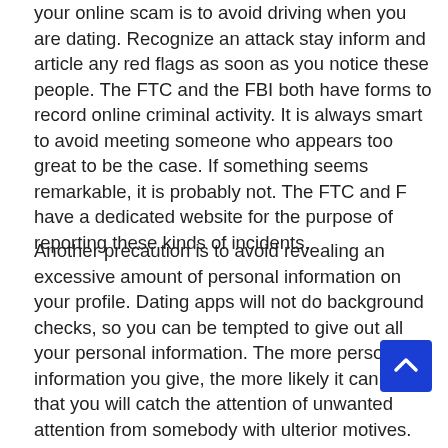your online scam is to avoid driving when you are dating. Recognize an attack stay inform and article any red flags as soon as you notice these people. The FTC and the FBI both have forms to record online criminal activity. It is always smart to avoid meeting someone who appears too great to be the case. If something seems remarkable, it is probably not. The FTC and F have a dedicated website for the purpose of reporting these kinds of incidents.
Another precaution is to avoid revealing an excessive amount of personal information on your profile. Dating apps will not do background checks, so you can be tempted to give out all your personal information. The more personal information you give, the more likely it can be that you will catch the attention of unwanted attention from somebody with ulterior motives. So , keep your online dating profile write off or imperfect, or make use of a pseudonym if you can't remember the password. Prevent giving out too very much personal information about yourself as this could provide a partner